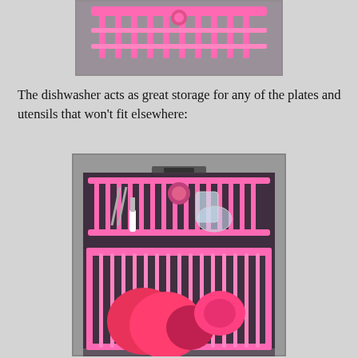[Figure (photo): Top portion of a pink toy dishwasher rack viewed from above, showing pink plastic tines/grid structure against a gray background.]
The dishwasher acts as great storage for any of the plates and utensils that won't fit elsewhere:
[Figure (photo): A pink toy dishwasher with its rack pulled out, showing a pink plastic dish rack with utensils including scissors/tongs, a white-handled tool, a clear cup/measuring cup, and pink plates in the lower rack section.]